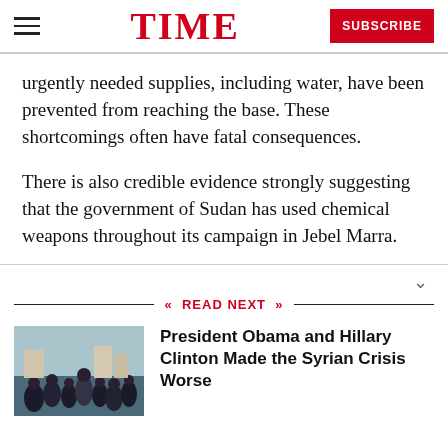TIME | SUBSCRIBE
urgently needed supplies, including water, have been prevented from reaching the base. These shortcomings often have fatal consequences.
There is also credible evidence strongly suggesting that the government of Sudan has used chemical weapons throughout its campaign in Jebel Marra.
READ NEXT
[Figure (photo): Crowd of people outdoors, related to President Obama and Hillary Clinton Syrian Crisis article]
President Obama and Hillary Clinton Made the Syrian Crisis Worse